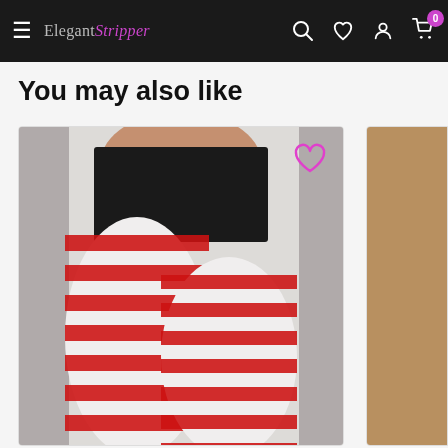Elegant Stripper — navigation bar with menu, search, wishlist, account, and cart (0 items)
You may also like
[Figure (photo): Product photo of a model wearing red and white striped tights/stockings with a black strapless top, shown from torso down. A pink heart wishlist icon is overlaid on the upper right of the image. Part of a second product card is visible on the right edge.]